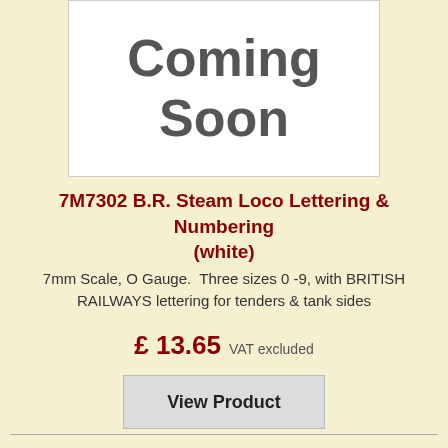[Figure (illustration): White box with large bold grey text reading 'Coming Soon']
7M7302 B.R. Steam Loco Lettering & Numbering (white)
7mm Scale, O Gauge.  Three sizes 0 -9, with BRITISH RAILWAYS lettering for tenders & tank sides
£ 13.65 VAT excluded
View Product
[Figure (photo): Partial product image visible at bottom of page showing pink/red graphic elements on white background]